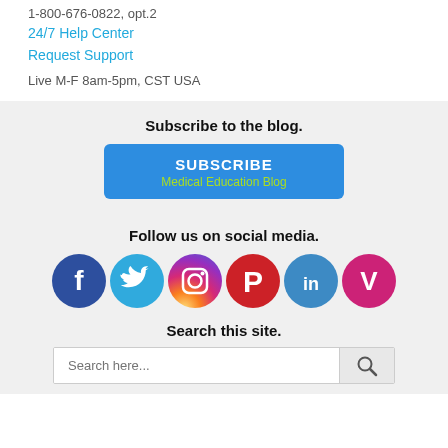1-800-676-0822, opt.2
24/7 Help Center
Request Support
Live M-F 8am-5pm, CST USA
Subscribe to the blog.
SUBSCRIBE
Medical Education Blog
Follow us on social media.
[Figure (infographic): Row of six social media icons: Facebook (dark blue circle with f), Twitter (light blue circle with bird), Instagram (gradient purple-orange circle with camera), Pinterest (red circle with P), LinkedIn (blue circle with in), Vimeo (magenta circle with V)]
Search this site.
Search here...